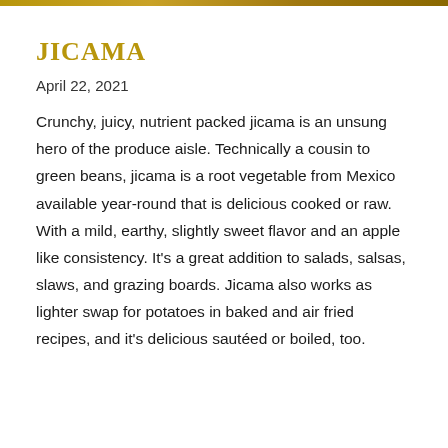JICAMA
April 22, 2021
Crunchy, juicy, nutrient packed jicama is an unsung hero of the produce aisle. Technically a cousin to green beans, jicama is a root vegetable from Mexico available year-round that is delicious cooked or raw. With a mild, earthy, slightly sweet flavor and an apple like consistency. It's a great addition to salads, salsas, slaws, and grazing boards. Jicama also works as lighter swap for potatoes in baked and air fried recipes, and it's delicious sautéed or boiled, too.